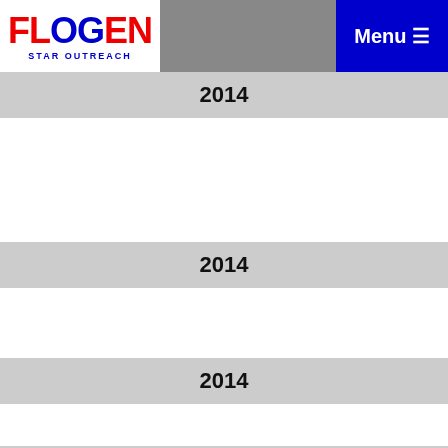FLOGEN STAR OUTREACH | Menu
2014
2014
2014
2013